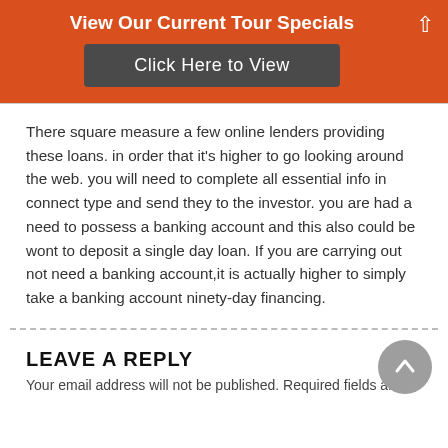View Our Current Tour Specials
[Figure (other): Orange banner with 'Click Here to View' button and up-arrow icon]
There square measure a few online lenders providing these loans. in order that it's higher to go looking around the web. you will need to complete all essential info in connect type and send they to the investor. you are had a need to possess a banking account and this also could be wont to deposit a single day loan. If you are carrying out not need a banking account,it is actually higher to simply take a banking account ninety-day financing.
LEAVE A REPLY
Your email address will not be published. Required fields are